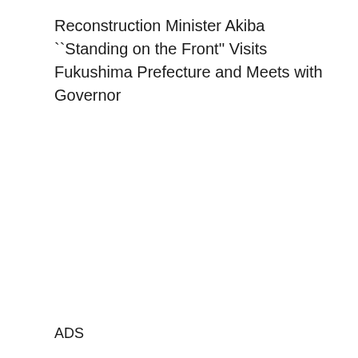Reconstruction Minister Akiba ``Standing on the Front'' Visits Fukushima Prefecture and Meets with Governor
ADS